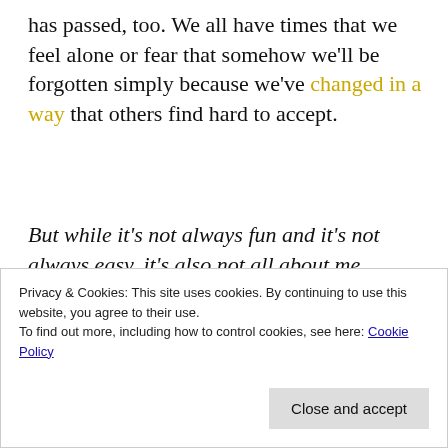has passed, too. We all have times that we feel alone or fear that somehow we'll be forgotten simply because we've changed in a way that others find hard to accept.
But while it's not always fun and it's not always easy, it's also not all about me.
[Figure (other): Green banner advertisement reading 'The best real-time WordPress backup plugin' in white bold text on a green background.]
Privacy & Cookies: This site uses cookies. By continuing to use this website, you agree to their use.
To find out more, including how to control cookies, see here: Cookie Policy